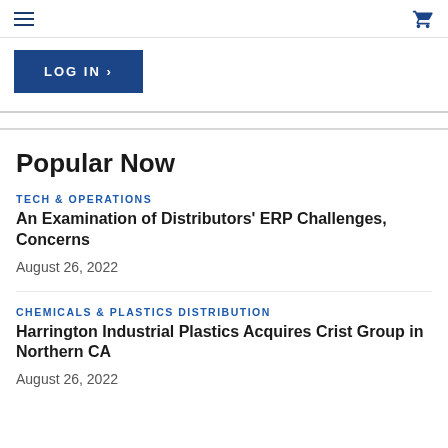Navigation header with hamburger menu and cart icon
LOG IN ›
Popular Now
TECH & OPERATIONS
An Examination of Distributors' ERP Challenges, Concerns
August 26, 2022
CHEMICALS & PLASTICS DISTRIBUTION
Harrington Industrial Plastics Acquires Crist Group in Northern CA
August 26, 2022